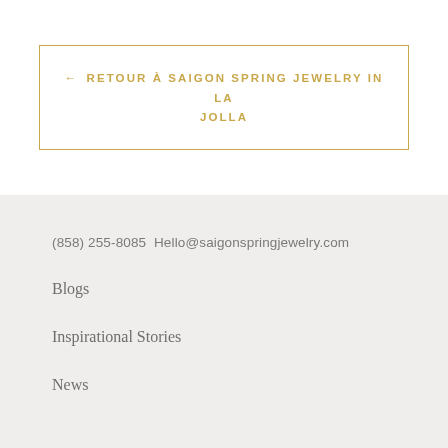← RETOUR À SAIGON SPRING JEWELRY IN LA JOLLA
(858) 255-8085 Hello@saigonspringjewelry.com
Blogs
Inspirational Stories
News